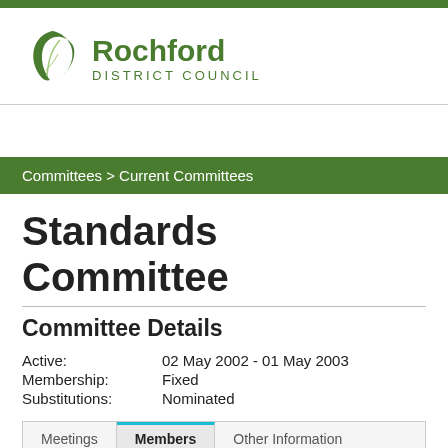[Figure (logo): Rochford District Council logo with green leaf icon and text]
Committees > Current Committees
Standards Committee
Committee Details
| Active: | 02 May 2002 - 01 May 2003 |
| Membership: | Fixed |
| Substitutions: | Nominated |
Meetings | Members | Other Information